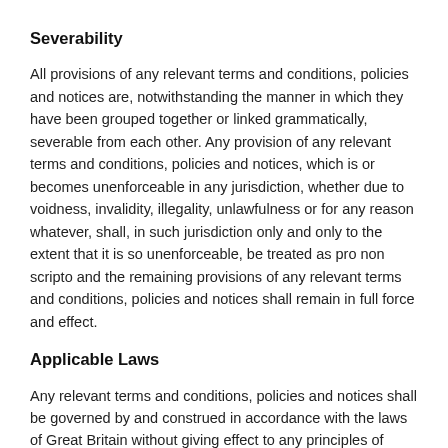Severability
All provisions of any relevant terms and conditions, policies and notices are, notwithstanding the manner in which they have been grouped together or linked grammatically, severable from each other. Any provision of any relevant terms and conditions, policies and notices, which is or becomes unenforceable in any jurisdiction, whether due to voidness, invalidity, illegality, unlawfulness or for any reason whatever, shall, in such jurisdiction only and only to the extent that it is so unenforceable, be treated as pro non scripto and the remaining provisions of any relevant terms and conditions, policies and notices shall remain in full force and effect.
Applicable Laws
Any relevant terms and conditions, policies and notices shall be governed by and construed in accordance with the laws of Great Britain without giving effect to any principles of conflict of law. You hereby consent to the exclusive jurisdiction of the High Court of Great Britain in respect of any disputes arising in connection with the website, or any relevant terms and conditions, policies and notices or